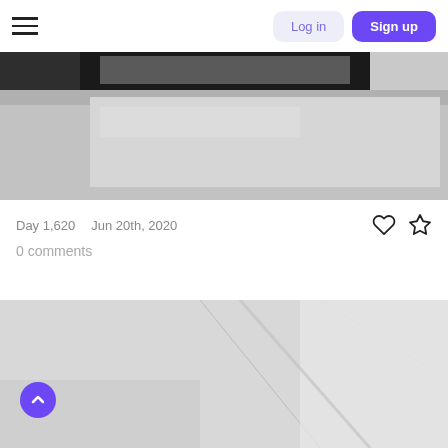Log in | Sign up
[Figure (photo): Black and white photo showing a partial view of a surface or object, dark elements visible at the top, light gray background]
Day 1,620   Jun 20th, 2020
0 comments
[Figure (photo): Black and white photo showing a light grey surface with diagonal shadows and lines]
[Figure (other): Back to top button, purple circle with upward chevron icon]